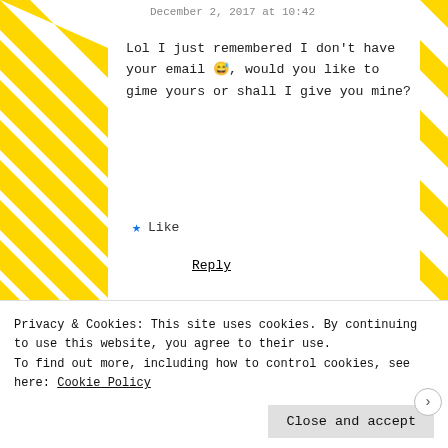December 2, 2017 at 10:42
Lol I just remembered I don't have your email 😅, would you like to gime yours or shall I give you mine?
★ Like
Reply
Sumedha
Privacy & Cookies: This site uses cookies. By continuing to use this website, you agree to their use.
To find out more, including how to control cookies, see here: Cookie Policy
Close and accept